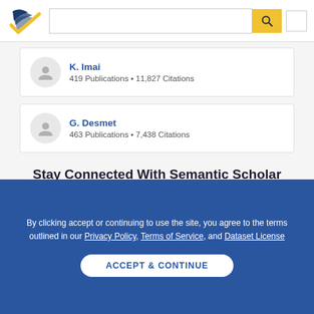Semantic Scholar header with logo, search bar, and user icon
K. Imai
419 Publications • 11,827 Citations
G. Desmet
463 Publications • 7,438 Citations
Stay Connected With Semantic Scholar
By clicking accept or continuing to use the site, you agree to the terms outlined in our Privacy Policy, Terms of Service, and Dataset License
ACCEPT & CONTINUE